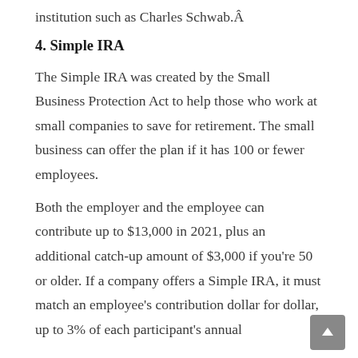institution such as Charles Schwab.Â
4. Simple IRA
The Simple IRA was created by the Small Business Protection Act to help those who work at small companies to save for retirement. The small business can offer the plan if it has 100 or fewer employees.
Both the employer and the employee can contribute up to $13,000 in 2021, plus an additional catch-up amount of $3,000 if you’re 50 or older. If a company offers a Simple IRA, it must match an employee’s contribution dollar for dollar, up to 3% of each participant’s annual salary, or choose to deduct 2% contribution